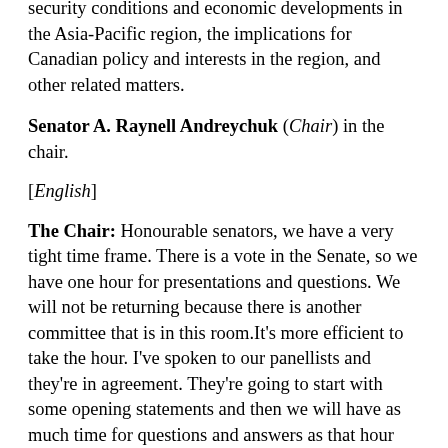security conditions and economic developments in the Asia-Pacific region, the implications for Canadian policy and interests in the region, and other related matters.
Senator A. Raynell Andreychuk (Chair) in the chair.
[English]
The Chair: Honourable senators, we have a very tight time frame. There is a vote in the Senate, so we have one hour for presentations and questions. We will not be returning because there is another committee that is in this room.It's more efficient to take the hour. I've spoken to our panellists and they're in agreement. They're going to start with some opening statements and then we will have as much time for questions and answers as that hour gives us.
Today the Standing Senate Committee on Foreign Affairs and International Trade is continuing its study on security conditions and economic developments in the Asia-Pacific region, the implications for Canadian policy and interests in